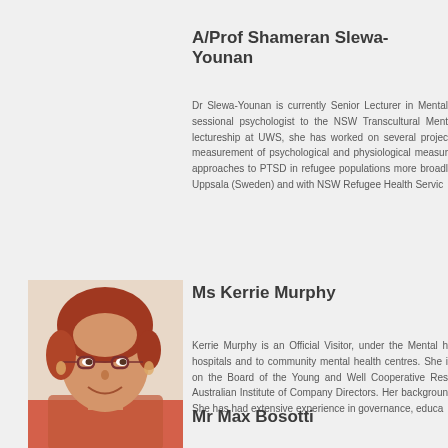A/Prof Shameran Slewa-Younan
Dr Slewa-Younan is currently Senior Lecturer in Mental sessional psychologist to the NSW Transcultural Ment lectureship at UWS, she has worked on several projec measurement of psychological and physiological measur approaches to PTSD in refugee populations more broad Uppsala (Sweden) and with NSW Refugee Health Servic
[Figure (photo): Portrait photo of Ms Kerrie Murphy, a woman with short reddish hair and glasses, smiling]
Ms Kerrie Murphy
Kerrie Murphy is an Official Visitor, under the Mental hospitals and to community mental health centres. She i on the Board of the Young and Well Cooperative Res Australian Institute of Company Directors. Her backgroun She has had extensive experience in governance, educa
Mr Max Bosotti